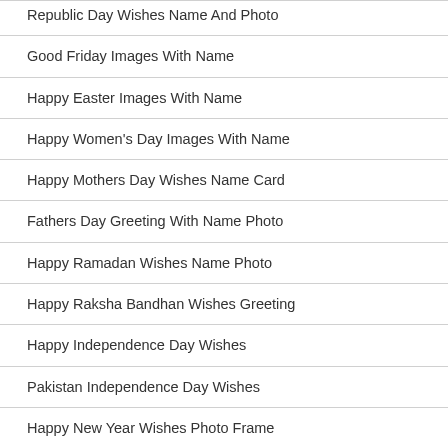Republic Day Wishes Name And Photo
Good Friday Images With Name
Happy Easter Images With Name
Happy Women's Day Images With Name
Happy Mothers Day Wishes Name Card
Fathers Day Greeting With Name Photo
Happy Ramadan Wishes Name Photo
Happy Raksha Bandhan Wishes Greeting
Happy Independence Day Wishes
Pakistan Independence Day Wishes
Happy New Year Wishes Photo Frame